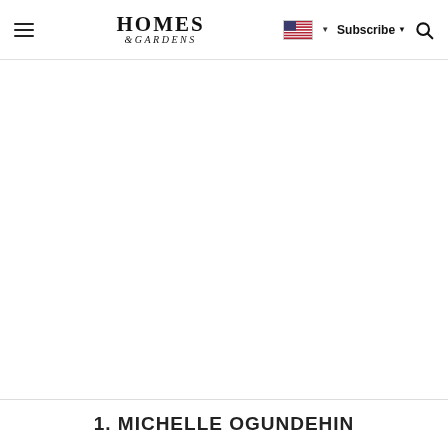HOMES & GARDENS — Subscribe — navigation bar with flag, subscribe, search
1. MICHELLE OGUNDEHIN